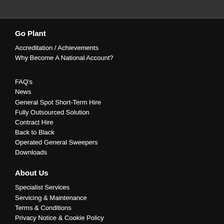Go Plant
Accreditation / Achievements
Why Become A National Account?
FAQ's
News
General Spot Short-Term Hire
Fully Outsourced Solution
Contract Hire
Back to Black
Operated General Sweepers
Downloads
About Us
Specialist Services
Servicing & Maintenance
Terms & Conditions
Privacy Notice & Cookie Policy